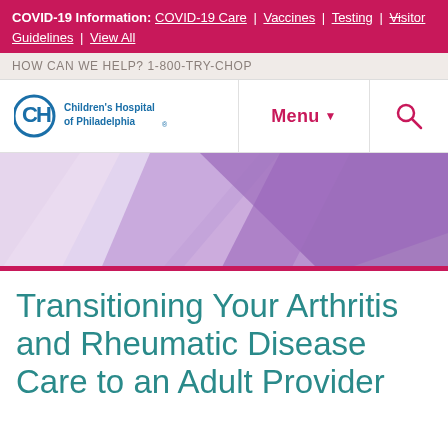COVID-19 Information: COVID-19 Care | Vaccines | Testing | Visitor Guidelines | View All
HOW CAN WE HELP? 1-800-TRY-CHOP
[Figure (logo): Children's Hospital of Philadelphia logo with CH icon and text]
Menu
[Figure (illustration): Abstract geometric hero banner with purple, lavender, and pink diagonal shapes]
Transitioning Your Arthritis and Rheumatic Disease Care to an Adult Provider